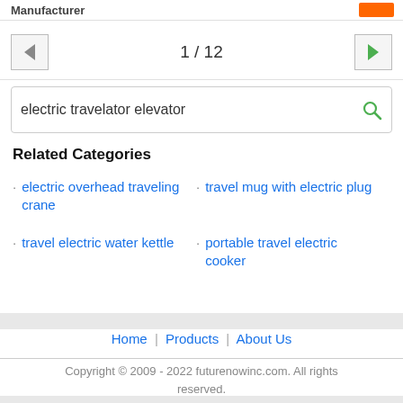Manufacturer
1 / 12
electric travelator elevator
Related Categories
electric overhead traveling crane
travel electric water kettle
travel mug with electric plug
portable travel electric cooker
Home | Products | About Us
Copyright © 2009 - 2022 futurenowinc.com. All rights reserved.